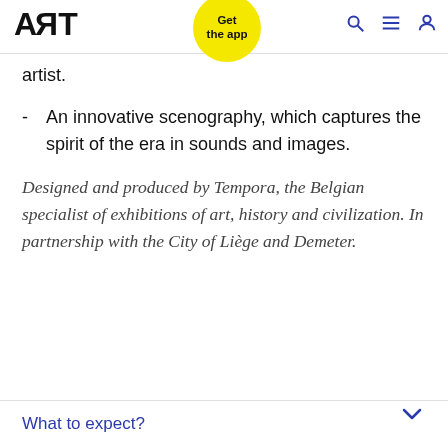ART | Get the app
artist.
- An innovative scenography, which captures the spirit of the era in sounds and images.
Designed and produced by Tempora, the Belgian specialist of exhibitions of art, history and civilization. In partnership with the City of Liège and Demeter.
What to expect?